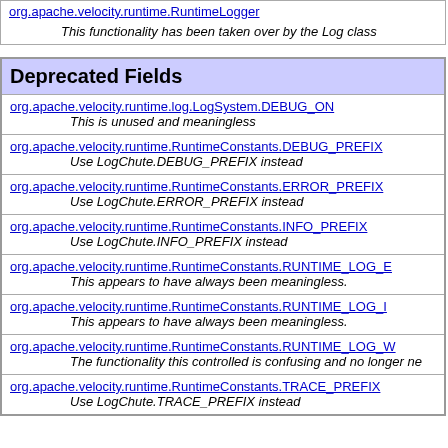| org.apache.velocity.runtime.RuntimeLogger | This functionality has been taken over by the Log class |
| Deprecated Fields |
| --- |
| org.apache.velocity.runtime.log.LogSystem.DEBUG_ON | This is unused and meaningless |
| org.apache.velocity.runtime.RuntimeConstants.DEBUG_PREFIX | Use LogChute.DEBUG_PREFIX instead |
| org.apache.velocity.runtime.RuntimeConstants.ERROR_PREFIX | Use LogChute.ERROR_PREFIX instead |
| org.apache.velocity.runtime.RuntimeConstants.INFO_PREFIX | Use LogChute.INFO_PREFIX instead |
| org.apache.velocity.runtime.RuntimeConstants.RUNTIME_LOG_E | This appears to have always been meaningless. |
| org.apache.velocity.runtime.RuntimeConstants.RUNTIME_LOG_I | This appears to have always been meaningless. |
| org.apache.velocity.runtime.RuntimeConstants.RUNTIME_LOG_W | The functionality this controlled is confusing and no longer ne |
| org.apache.velocity.runtime.RuntimeConstants.TRACE_PREFIX | Use LogChute.TRACE_PREFIX instead |